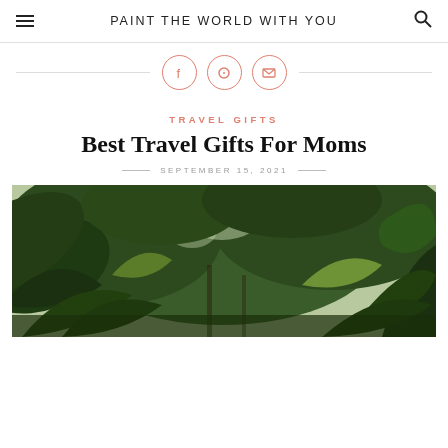PAINT THE WORLD WITH YOU
[Figure (illustration): Social media share icons: Facebook, Pinterest, and Email in orange circular outlines, with horizontal lines on either side]
TRAVEL GIFTS
Best Travel Gifts For Moms
SEPTEMBER 15, 2021
[Figure (photo): Tropical green foliage and plants photographed from below, lush jungle canopy scene]